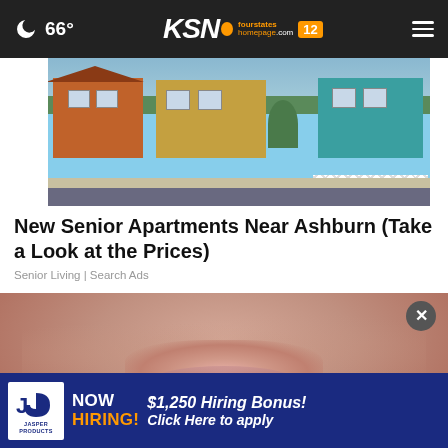🌙 66° | KSN fourstates homepage .com 12
[Figure (photo): Colorful row of small houses – orange, yellow, and teal – along a residential street with greenery and sidewalk]
New Senior Apartments Near Ashburn (Take a Look at the Prices)
Senior Living | Search Ads
[Figure (photo): Close-up of elderly wrinkled face, mouth area, showing aged skin texture with a dark close/X button overlay and a job hiring ad banner at bottom reading: NOW HIRING! $1,250 Hiring Bonus! Click Here to apply – Jasper Products]